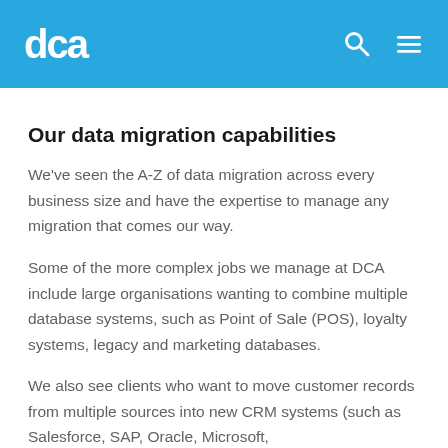dca
Our data migration capabilities
We've seen the A-Z of data migration across every business size and have the expertise to manage any migration that comes our way.
Some of the more complex jobs we manage at DCA include large organisations wanting to combine multiple database systems, such as Point of Sale (POS), loyalty systems, legacy and marketing databases.
We also see clients who want to move customer records from multiple sources into new CRM systems (such as Salesforce, SAP, Oracle, Microsoft,